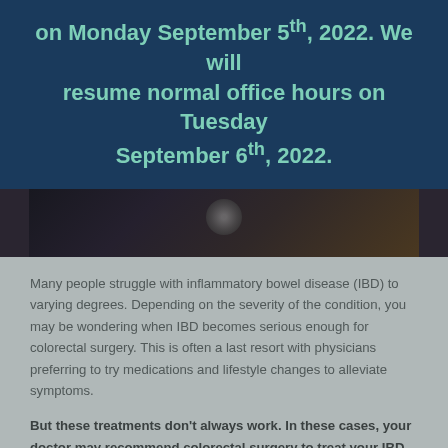on Monday September 5th, 2022. We will resume normal office hours on Tuesday September 6th, 2022.
[Figure (photo): Dark moody photo showing a partial view of a person or object with dark tones, brownish and dark blue hues, with a circular element visible.]
Many people struggle with inflammatory bowel disease (IBD) to varying degrees. Depending on the severity of the condition, you may be wondering when IBD becomes serious enough for colorectal surgery. This is often a last resort with physicians preferring to try medications and lifestyle changes to alleviate symptoms.
But these treatments don't always work. In these cases, your doctor may recommend colorectal surgery to treat your IBD. While the cause of IBD is unknown, colorectal surgery can help eliminate your IBD or send it into remission for a time.